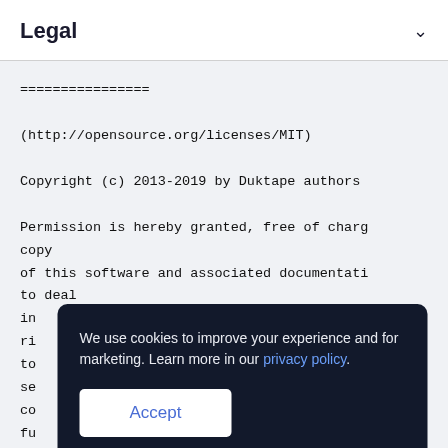Legal
================

(http://opensource.org/licenses/MIT)

Copyright (c) 2013-2019 by Duktape authors

Permission is hereby granted, free of charge, to copy
of this software and associated documentation to deal
in... luc
ri...
to... str
se...
co... rso
fu... wir
We use cookies to improve your experience and for marketing. Learn more in our privacy policy.
Accept